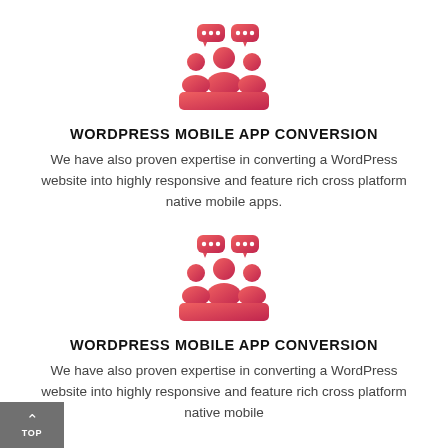[Figure (illustration): Red/pink icon of a group of people with speech bubbles, representing community or mobile app users]
WORDPRESS MOBILE APP CONVERSION
We have also proven expertise in converting a WordPress website into highly responsive and feature rich cross platform native mobile apps.
[Figure (illustration): Red/pink icon of a group of people with speech bubbles, representing community or mobile app users]
WORDPRESS MOBILE APP CONVERSION
We have also proven expertise in converting a WordPress website into highly responsive and feature rich cross platform native mobile